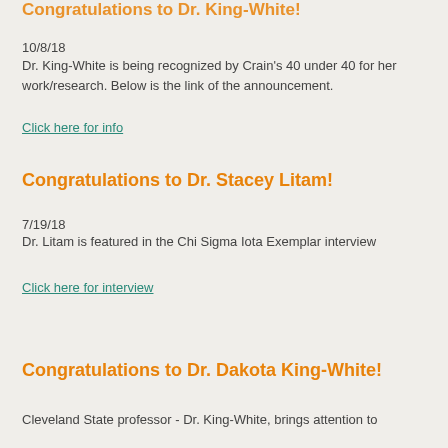Congratulations to Dr. King-White!
10/8/18
Dr. King-White is being recognized by Crain's 40 under 40 for her work/research. Below is the link of the announcement.
Click here for info
Congratulations to Dr. Stacey Litam!
7/19/18
Dr. Litam is featured in the Chi Sigma Iota Exemplar interview
Click here for interview
Congratulations to Dr. Dakota King-White!
Cleveland State professor - Dr. King-White, brings attention to